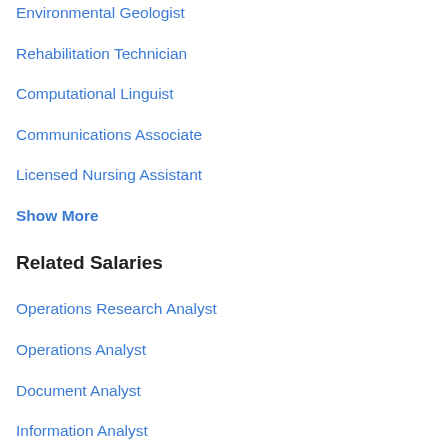Environmental Geologist
Rehabilitation Technician
Computational Linguist
Communications Associate
Licensed Nursing Assistant
Show More
Related Salaries
Operations Research Analyst
Operations Analyst
Document Analyst
Information Analyst